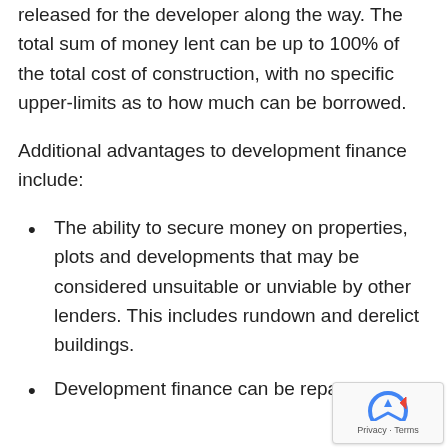released for the developer along the way. The total sum of money lent can be up to 100% of the total cost of construction, with no specific upper-limits as to how much can be borrowed.
Additional advantages to development finance include:
The ability to secure money on properties, plots and developments that may be considered unsuitable or unviable by other lenders. This includes rundown and derelict buildings.
Development finance can be repaid